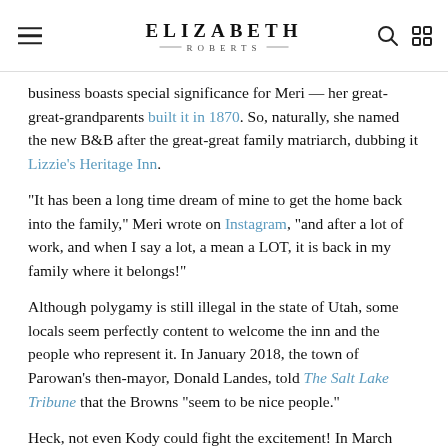ELIZABETH ROBERTS
business boasts special significance for Meri — her great-great-grandparents built it in 1870. So, naturally, she named the new B&B after the great-great family matriarch, dubbing it Lizzie's Heritage Inn.
"It has been a long time dream of mine to get the home back into the family," Meri wrote on Instagram, "and after a lot of work, and when I say a lot, a mean a LOT, it is back in my family where it belongs!"
Although polygamy is still illegal in the state of Utah, some locals seem perfectly content to welcome the inn and the people who represent it. In January 2018, the town of Parowan's then-mayor, Donald Landes, told The Salt Lake Tribune that the Browns "seem to be nice people."
Heck, not even Kody could fight the excitement! In March 2018, he tweeted, "I was forced to admit that Lizzie's home was very magical. It was captivating." Sounds like